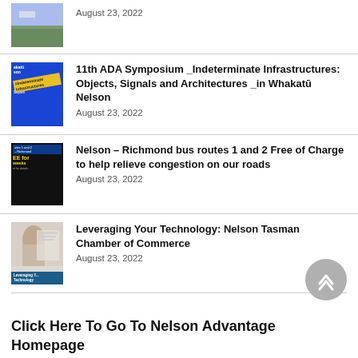August 23, 2022
11th ADA Symposium _Indeterminate Infrastructures: Objects, Signals and Architectures _in Whakatū Nelson
August 23, 2022
Nelson – Richmond bus routes 1 and 2 Free of Charge to help relieve congestion on our roads
August 23, 2022
Leveraging Your Technology: Nelson Tasman Chamber of Commerce
August 23, 2022
Click Here To Go To Nelson Advantage Homepage